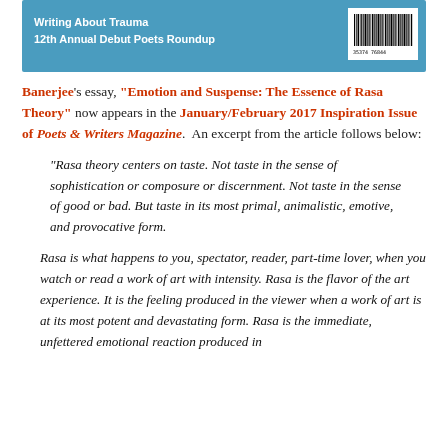[Figure (illustration): Book cover of a literary magazine showing blue background with text: 'Writing About Trauma', '12th Annual Debut Poets Roundup', and a barcode in the upper right]
Banerjee's essay, "Emotion and Suspense: The Essence of Rasa Theory" now appears in the January/February 2017 Inspiration Issue of Poets & Writers Magazine. An excerpt from the article follows below:
“Rasa theory centers on taste. Not taste in the sense of sophistication or composure or discernment. Not taste in the sense of good or bad. But taste in its most primal, animalistic, emotive, and provocative form.
Rasa is what happens to you, spectator, reader, part-time lover, when you watch or read a work of art with intensity. Rasa is the flavor of the art experience. It is the feeling produced in the viewer when a work of art is at its most potent and devastating form. Rasa is the immediate, unfettered emotional reaction produced in